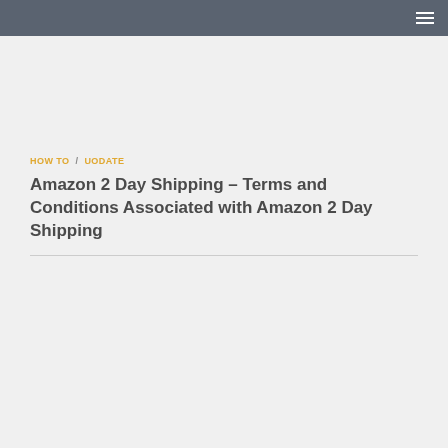≡
HOW TO / UODATE
Amazon 2 Day Shipping – Terms and Conditions Associated with Amazon 2 Day Shipping